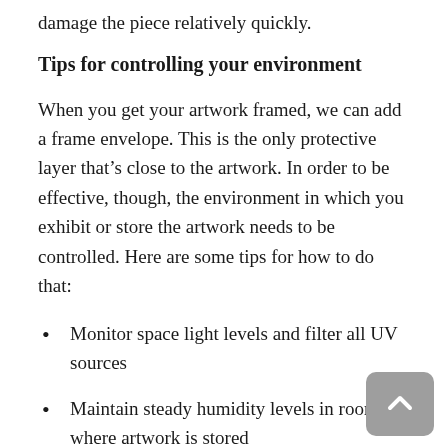damage the piece relatively quickly.
Tips for controlling your environment
When you get your artwork framed, we can add a frame envelope. This is the only protective layer that's close to the artwork. In order to be effective, though, the environment in which you exhibit or store the artwork needs to be controlled. Here are some tips for how to do that:
Monitor space light levels and filter all UV sources
Maintain steady humidity levels in rooms where artwork is stored
Never expose your framed artwork to direct sunlight